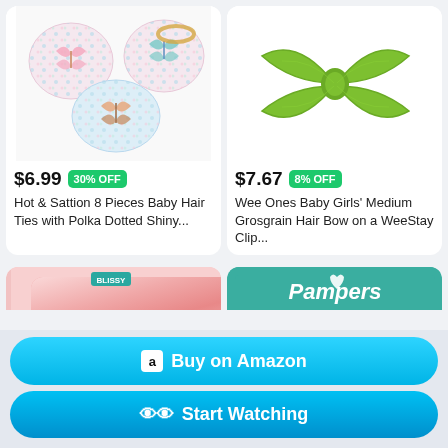[Figure (photo): Baby hair ties with polka dot pattern and butterfly clips, multiple pieces shown on white background]
$6.99 30% OFF
Hot & Sattion 8 Pieces Baby Hair Ties with Polka Dotted Shiny...
[Figure (photo): Bright green grosgrain hair bow on white background]
$7.67 8% OFF
Wee Ones Baby Girls' Medium Grosgrain Hair Bow on a WeeStay Clip...
[Figure (photo): Pink satin pillow partially visible]
[Figure (photo): Pampers box partially visible on teal background]
Buy on Amazon
Start Watching